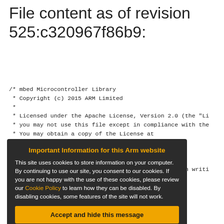File content as of revision 525:c320967f86b9:
/* mbed Microcontroller Library
 * Copyright (c) 2015 ARM Limited
 *
 * Licensed under the Apache License, Version 2.0 (the "Li
 * you may not use this file except in compliance with the
 * You may obtain a copy of the License at
 *
 *     ...licenses/LICENSE-2.0
 *
 * Unless required by applicable law or agreed to in writi
 *     the License is distributed on an "AS
 * WARRANTIES OR CONDITIONS OF ANY KIND, either ex
 *     specific language governing per
 *     License.
Important Information for this Arm website
This site uses cookies to store information on your computer. By continuing to use our site, you consent to our cookies. If you are not happy with the use of these cookies, please review our Cookie Policy to learn how they can be disabled. By disabling cookies, some features of the site will not work.
Accept and hide this message
#include "ticker_api.h"